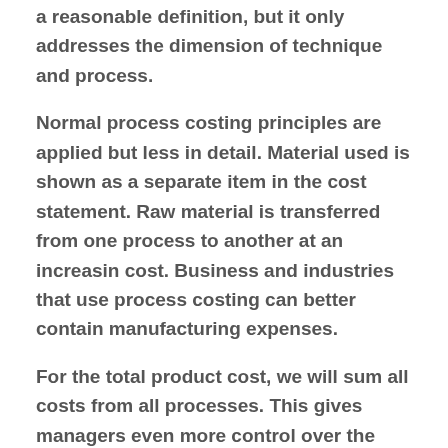a reasonable definition, but it only addresses the dimension of technique and process.
Normal process costing principles are applied but less in detail. Material used is shown as a separate item in the cost statement. Raw material is transferred from one process to another at an increasin cost. Business and industries that use process costing can better contain manufacturing expenses.
For the total product cost, we will sum all costs from all processes. This gives managers even more control over the manufacturing process. In overall profitability, when selling millions of units of product a month. This will lead to a false increase in the cost per unit and thus will fall on the consumers in the form of higher prices which may be above the market competitive pricing at the end of the original...